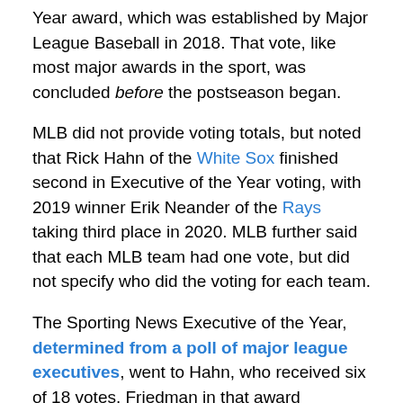Year award, which was established by Major League Baseball in 2018. That vote, like most major awards in the sport, was concluded before the postseason began.
MLB did not provide voting totals, but noted that Rick Hahn of the White Sox finished second in Executive of the Year voting, with 2019 winner Erik Neander of the Rays taking third place in 2020. MLB further said that each MLB team had one vote, but did not specify who did the voting for each team.
The Sporting News Executive of the Year, determined from a poll of major league executives, went to Hahn, who received six of 18 votes. Friedman in that award garnered three votes, tying for third place. Sounds like those other 12 votes helped turn the MLB award blue.